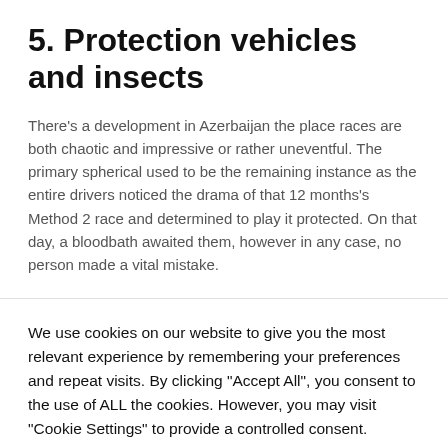5. Protection vehicles and insects
There's a development in Azerbaijan the place races are both chaotic and impressive or rather uneventful. The primary spherical used to be the remaining instance as the entire drivers noticed the drama of that 12 months's Method 2 race and determined to play it protected. On that day, a bloodbath awaited them, however in any case, no person made a vital mistake.
We use cookies on our website to give you the most relevant experience by remembering your preferences and repeat visits. By clicking "Accept All", you consent to the use of ALL the cookies. However, you may visit "Cookie Settings" to provide a controlled consent.
Cookie Settings | Accept All